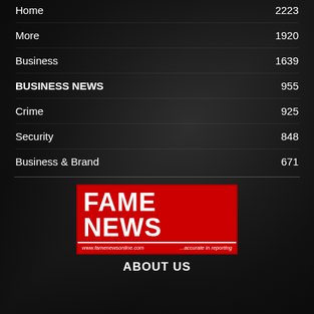Home 2223
More 1920
Business 1639
BUSINESS NEWS 955
Crime 925
Security 848
Business & Brand 671
[Figure (logo): FAME NEWS logo with red background, white bold text 'FAME NEWS', website www.famenewsonline.com and tagline '...accurate in reporting']
ABOUT US